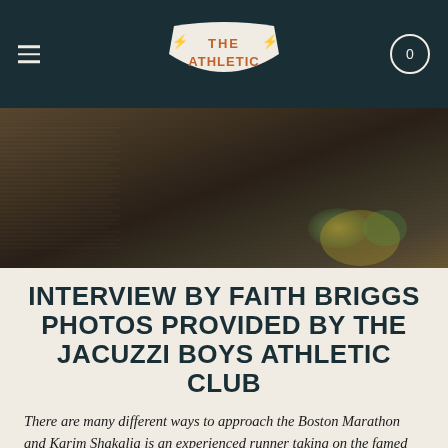The Athletic — navigation header with hamburger menu, logo, and cart icon (0)
[Figure (photo): Close-up photo of athletic gear, dark tones with a blurred highlight in the lower right]
INTERVIEW BY FAITH BRIGGS PHOTOS PROVIDED BY THE JACUZZI BOYS ATHLETIC CLUB
There are many different ways to approach the Boston Marathon and Karim Shakalia is an experienced runner taking on the famed marathon for the first time. This will be his fourth marathon. In our quick race week chat, we got into training cycles, what it's like to train with The